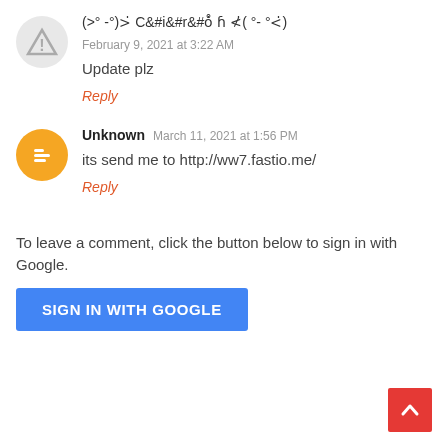(>° -°)>· Ciro̊· ᵮ ≮·( °- °<·)  February 9, 2021 at 3:22 AM
Update plz
Reply
Unknown  March 11, 2021 at 1:56 PM
its send me to http://ww7.fastio.me/
Reply
To leave a comment, click the button below to sign in with Google.
SIGN IN WITH GOOGLE